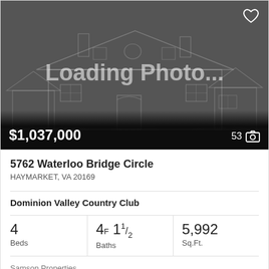[Figure (photo): Loading Photo placeholder with outline drawing of a house on dark grey background]
5762 Waterloo Bridge Circle
HAYMARKET, VA 20169
Dominion Valley Country Club
4 Beds  4F 11/2 Baths  5,992 Sq.Ft.
Samson Properties